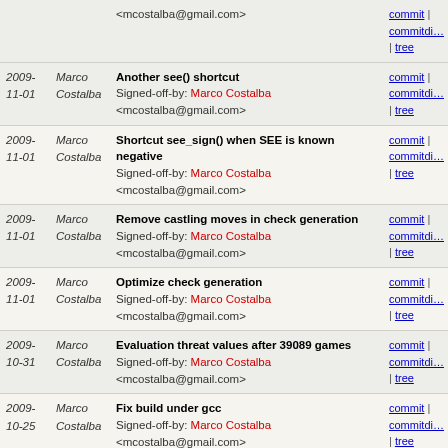| Date | Author | Message | Links |
| --- | --- | --- | --- |
|  |  | <mcostalba@gmail.com> | commit | commitdiff | tree |
| 2009-11-01 | Marco Costalba | Another see() shortcut
Signed-off-by: Marco Costalba <mcostalba@gmail.com> | commit | commitdiff | tree |
| 2009-11-01 | Marco Costalba | Shortcut see_sign() when SEE is known negative
Signed-off-by: Marco Costalba <mcostalba@gmail.com> | commit | commitdiff | tree |
| 2009-11-01 | Marco Costalba | Remove castling moves in check generation
Signed-off-by: Marco Costalba <mcostalba@gmail.com> | commit | commitdiff | tree |
| 2009-11-01 | Marco Costalba | Optimize check generation
Signed-off-by: Marco Costalba <mcostalba@gmail.com> | commit | commitdiff | tree |
| 2009-10-31 | Marco Costalba | Evaluation threat values after 39089 games
Signed-off-by: Marco Costalba <mcostalba@gmail.com> | commit | commitdiff | tree |
| 2009-10-25 | Marco Costalba | Fix build under gcc
Signed-off-by: Marco Costalba <mcostalba@gmail.com> | commit | commitdiff | tree |
| 2009-10-25 | Marco Costalba | Add threat evaluation
Signed-off-by: Marco Costalba <mcostalba@gmail.com> | commit | commitdiff | tree |
| 2009-10-23 | Marco Costalba | Micro optimize mobility calculation
Signed-off-by: Marco Costalba <mcostalba@gmail.com> | commit | commitdiff | tree |
| 2009-10-22 | Marco Costalba | Unify capture and promotion tests
Signed-off-by: Marco Costalba | commit | commitdiff | tree |